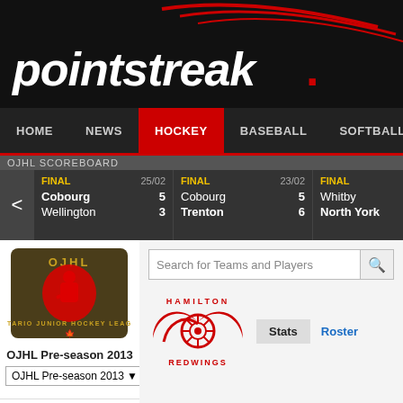[Figure (logo): Pointstreak logo on dark background with red swoosh graphic]
HOME  NEWS  HOCKEY  BASEBALL  SOFTBALL  BAS
OJHL SCOREBOARD
| Status | Date | Team1 | Score1 | Team2 | Score2 |
| --- | --- | --- | --- | --- | --- |
| FINAL | 25/02 | Cobourg | 5 | Wellington | 3 |
| FINAL | 23/02 | Cobourg | 5 | Trenton | 6 |
| FINAL | 22/02 | Whitby | 0 | North York | 4 |
| FINAL |  | Linds |  | Kingst |  |
[Figure (logo): OJHL Ontario Junior Hockey League logo]
OJHL Pre-season 2013
OJHL Pre-season 2013 ▼
SCOREBOARD
STANDINGS
SCORING LEADERS
[Figure (logo): Hamilton Red Wings logo - red winged wheel on white background]
Stats
Roster
Hamilton Red Wings
Pointstreak Performance Profile